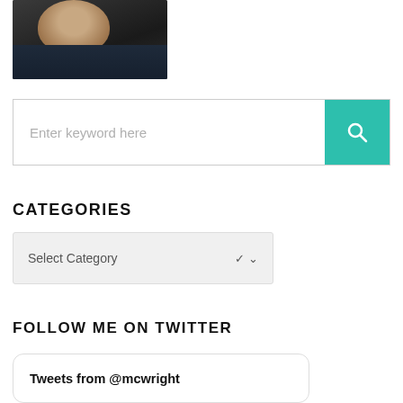[Figure (photo): Partial headshot photo of a man wearing a dark striped shirt, cropped at top of frame]
Enter keyword here
CATEGORIES
Select Category
FOLLOW ME ON TWITTER
Tweets from @mcwright